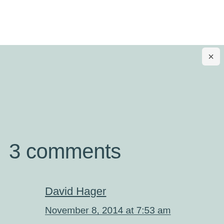3 comments
David Hager
November 8, 2014 at 7:53 am